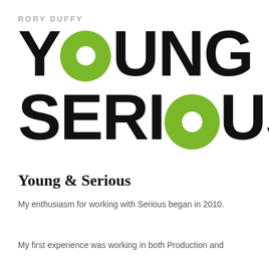RORY DUFFY
YOUNG & SERIOUS
Young & Serious
My enthusiasm for working with Serious began in 2010.
My first experience was working in both Production and